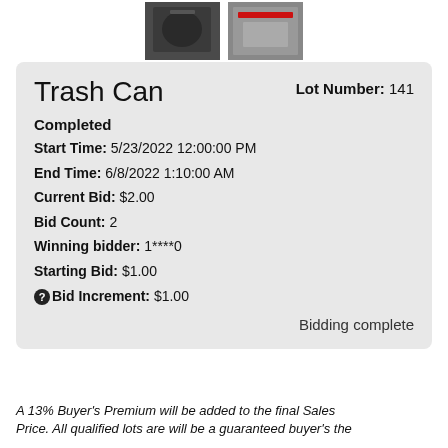[Figure (photo): Two thumbnail photos of a trash can item]
Trash Can
Lot Number: 141
Completed
Start Time: 5/23/2022 12:00:00 PM
End Time: 6/8/2022 1:10:00 AM
Current Bid: $2.00
Bid Count: 2
Winning bidder: 1****0
Starting Bid: $1.00
Bid Increment: $1.00
Bidding complete
A 13% Buyer's Premium will be added to the final Sales Price. All qualified lots are will be a guaranteed buyer's the